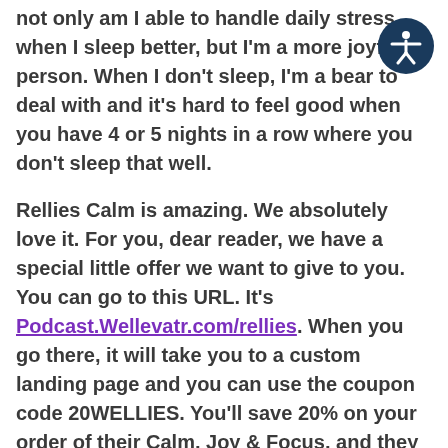not only am I able to handle daily stress when I sleep better, but I'm a more joyful person. When I don't sleep, I'm a bear to deal with and it's hard to feel good when you have 4 or 5 nights in a row where you don't sleep that well.
Rellies Calm is amazing. We absolutely love it. For you, dear reader, we have a special little offer we want to give to you. You can go to this URL. It's Podcast.Wellevatr.com/rellies. When you go there, it will take you to a custom landing page and you can use the coupon code 20WELLIES. You'll save 20% on your order of their Calm, Joy & Focus, and they came out, Whitney, which I haven't tried yet with shots. We need to get our hands on some of the shots from Ryan and Jacob because we've always got to test these products. Whether you're going to take the tinctures, dear reader, or you're going to try out their shiggy shots, 20% off with the code 20WELLIES. Do I feel daily anxiety? Yes,
[Figure (illustration): Circular accessibility icon button with dark navy blue background and white person with outstretched arms symbol]